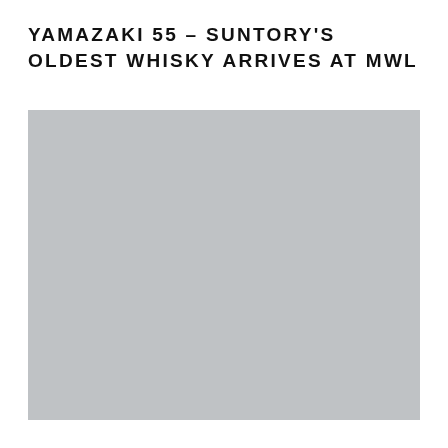YAMAZAKI 55 – SUNTORY'S OLDEST WHISKY ARRIVES AT MWL
[Figure (photo): Large grey placeholder image representing a photo of Yamazaki 55 Suntory whisky]